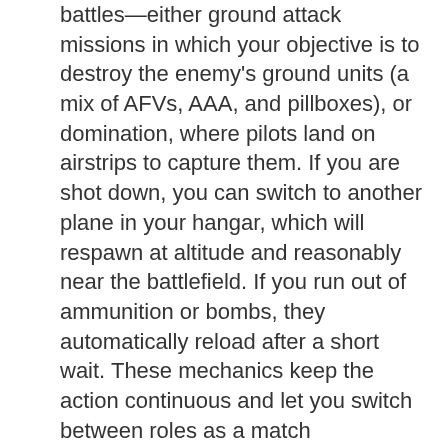battles—either ground attack missions in which your objective is to destroy the enemy's ground units (a mix of AFVs, AAA, and pillboxes), or domination, where pilots land on airstrips to capture them. If you are shot down, you can switch to another plane in your hangar, which will respawn at altitude and reasonably near the battlefield. If you run out of ammunition or bombs, they automatically reload after a short wait. These mechanics keep the action continuous and let you switch between roles as a match progresses, e.g., if you splashed some of the enemy's fighters in your last sortie, you can switch to a bomber to press the attack against their ground units. This stands in contrast to World of Tanks/Warplanes, where once you've died, you have to sit around and watch the match, because you